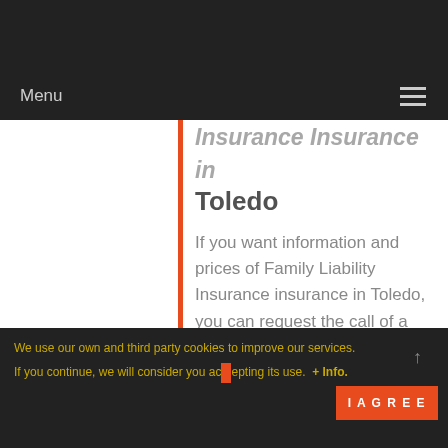Menu
Insurance Insurance in Toledo
If you want information and prices of Family Liability Insurance insurance in Toledo, you can request the call of a specialized car insurance adviser in Toledo by clicking on request call and inserting your name, phone number, email and Family Liability Insurance insurance. In a few minutes you will receive a call from
We use our own and third party cookies to improve our services. If you continue, we will consider you accepting its use. + Info.